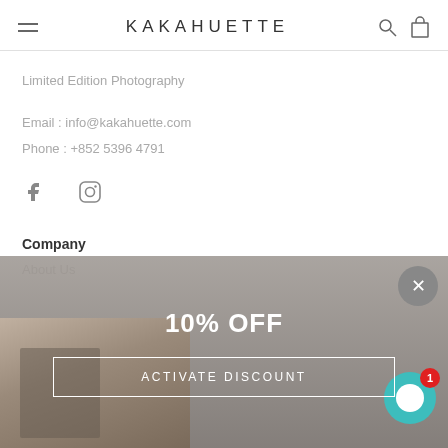KAKAHUETTE
Limited Edition Photography
Email : info@kakahuette.com
Phone : +852 5396 4791
[Figure (other): Facebook and Instagram social media icons]
Company
About Us
[Figure (screenshot): Promotional overlay showing '10% OFF' and 'ACTIVATE DISCOUNT' button, with a close X button and chat widget with notification badge '1']